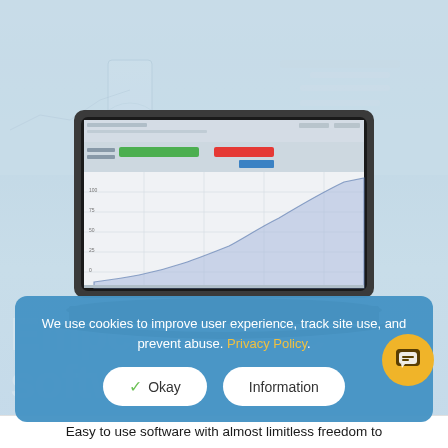[Figure (screenshot): Background blurred screenshot of Emperor Force software login/interface at top of page, with flask/beaker icon visible]
[Figure (screenshot): Laptop computer showing Emperor Force software interface with a graph/area chart displaying force measurement data. The screen shows colored status bars (green and red) and an area chart with a rising curve plotted on a grid.]
We use cookies to improve user experience, track site use, and prevent abuse. Privacy Policy.
Okay
Information
Easy to use software with almost limitless freedom to